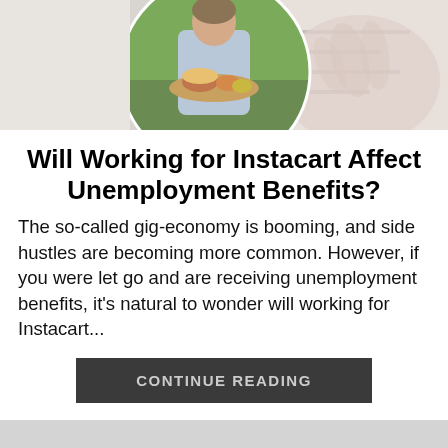[Figure (photo): Hero image: a man in a light blue polo shirt holding a tray of food (a burger and other items) in front of greenery, shown in a circular crop on the left side. On the right side, a faded image of a hand holding a pen near a form/clipboard.]
Will Working for Instacart Affect Unemployment Benefits?
The so-called gig-economy is booming, and side hustles are becoming more common. However, if you were let go and are receiving unemployment benefits, it's natural to wonder will working for Instacart...
CONTINUE READING